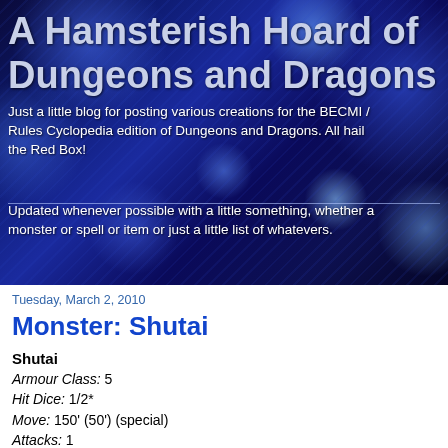A Hamsterish Hoard of Dungeons and Dragons
Just a little blog for posting various creations for the BECMI / Rules Cyclopedia edition of Dungeons and Dragons. All hail the Red Box!
Updated whenever possible with a little something, whether a monster or spell or item or just a little list of whatevers.
Tuesday, March 2, 2010
Monster: Shutai
Shutai
Armour Class: 5
Hit Dice: 1/2*
Move: 150' (50') (special)
Attacks: 1